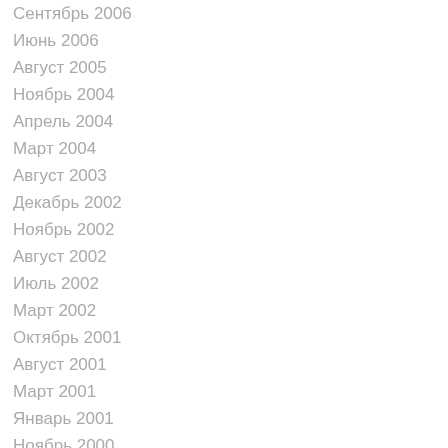Сентябрь 2006
Июнь 2006
Август 2005
Ноябрь 2004
Апрель 2004
Март 2004
Август 2003
Декабрь 2002
Ноябрь 2002
Август 2002
Июль 2002
Март 2002
Октябрь 2001
Август 2001
Март 2001
Январь 2001
Ноябрь 2000
Июнь 2000